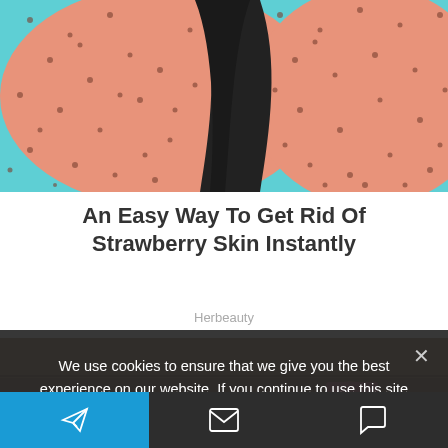[Figure (photo): Close-up photo of skin with dark spots/pores (strawberry skin) with teal/blue background]
An Easy Way To Get Rid Of Strawberry Skin Instantly
Herbeauty
[Figure (photo): Person wearing pink cap looking up at canyon rock walls]
We use cookies to ensure that we give you the best experience on our website. If you continue to use this site we will assume that you are happy with it.
Toolbar with send, email, and comment icons